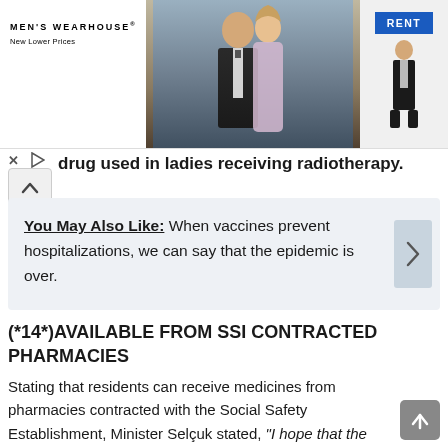[Figure (photo): Men's Wearhouse advertisement banner showing a couple in formal wear and a man in a tuxedo with a RENT button]
drug used in ladies receiving radiotherapy.
You May Also Like: When vaccines prevent hospitalizations, we can say that the epidemic is over.
(*14*)AVAILABLE FROM SSI CONTRACTED PHARMACIES
Stating that residents can receive medicines from pharmacies contracted with the Social Safety Establishment, Minister Selçuk stated, "I hope that the drugs will heal our sufferers, and I want our